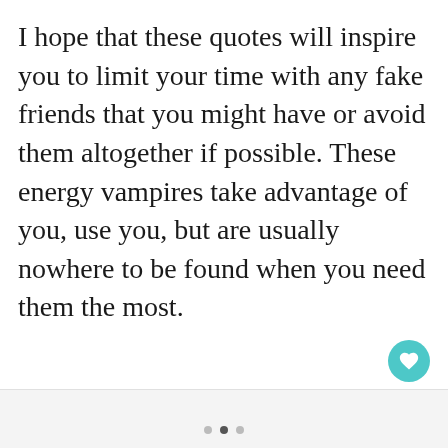I hope that these quotes will inspire you to limit your time with any fake friends that you might have or avoid them altogether if possible. These energy vampires take advantage of you, use you, but are usually nowhere to be found when you need them the most.